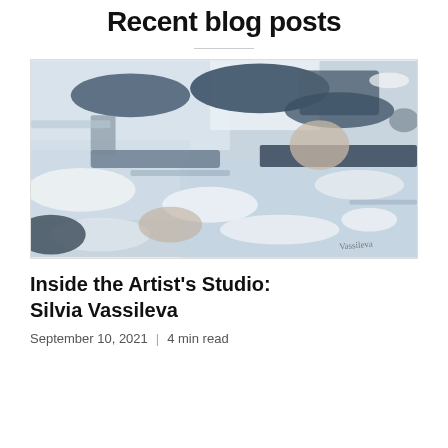Recent blog posts
[Figure (illustration): Abstract painting with blue, grey, white, and beige brushstrokes in a horizontal landscape composition, signed by the artist in the lower right corner.]
Inside the Artist's Studio: Silvia Vassileva
September 10, 2021  |  4 min read